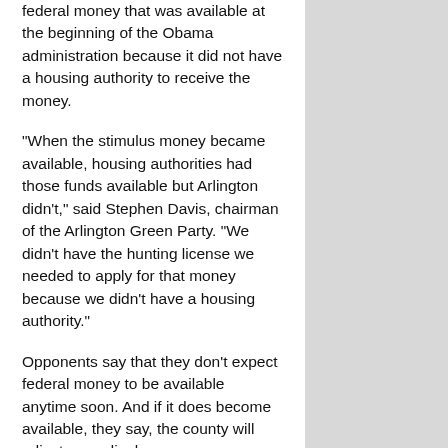federal money that was available at the beginning of the Obama administration because it did not have a housing authority to receive the money.
"When the stimulus money became available, housing authorities had those funds available but Arlington didn't," said Stephen Davis, chairman of the Arlington Green Party. "We didn't have the hunting license we needed to apply for that money because we didn't have a housing authority."
Opponents say that they don't expect federal money to be available anytime soon. And if it does become available, they say, the county will adjust accordingly.
"If there is new money, we'll cross that bridge when we come to it," said Rouleau.